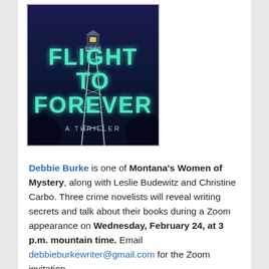[Figure (illustration): Book cover for 'Flight to Forever — A Thriller' showing a fire lookout tower at night with dark blue sky, and glowing teal/mint text for the title.]
Debbie Burke is one of Montana's Women of Mystery, along with Leslie Budewitz and Christine Carbo. Three crime novelists will reveal writing secrets and talk about their books during a Zoom appearance on Wednesday, February 24, at 3 p.m. mountain time. Email debbieburkewriter@gmail.com for the Zoom invitation.